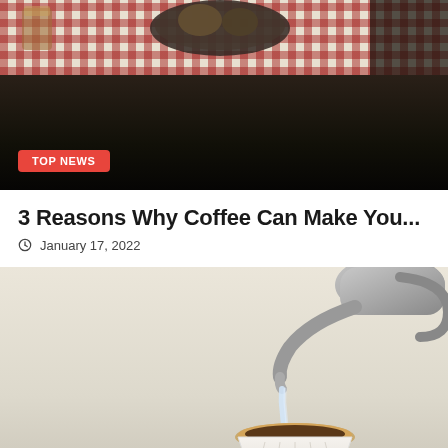[Figure (photo): Top portion of a food/cafe scene photo showing a dark table surface with a checkered tablecloth, coffee cups, and food items in background, with a red 'TOP NEWS' badge overlay at lower left]
3 Reasons Why Coffee Can Make You...
January 17, 2022
[Figure (photo): Pour-over coffee brewing photo: a gooseneck kettle pouring hot water into a white ceramic V60 dripper with a paper filter containing coffee grounds, placed on a glass server, against a light beige background]